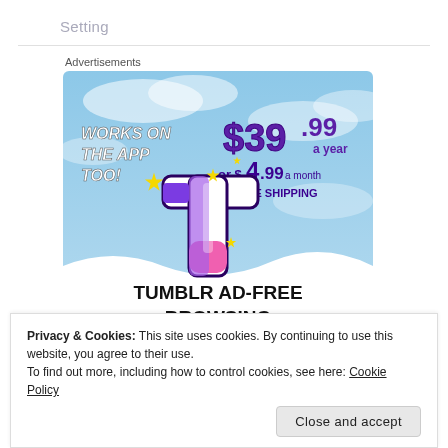Setting
Advertisements
[Figure (illustration): Tumblr Ad-Free Browsing advertisement banner. Sky blue background with clouds. Shows the Tumblr 't' logo in purple/pink/white with sparkle stars. Text: 'WORKS ON THE APP TOO!' in white bold italics. Price: '$39.99 a year or $4.99 a month + FREE SHIPPING'. Bottom white wave section reads 'TUMBLR AD-FREE BROWSING' in large black bold text.]
Privacy & Cookies: This site uses cookies. By continuing to use this website, you agree to their use.
To find out more, including how to control cookies, see here: Cookie Policy
Close and accept